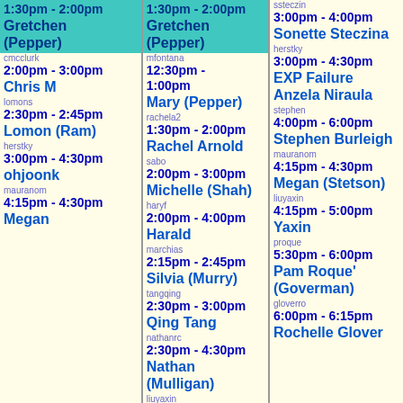| Column 1 | Column 2 | Column 3 |
| --- | --- | --- |
| 1:30pm-2:00pm Gretchen (Pepper) [highlighted] | 1:30pm-2:00pm Gretchen (Pepper) [highlighted] | ssteczin 3:00pm-4:00pm Sonette Steczina |
| cmcclurk 2:00pm-3:00pm Chris M | mfontana 12:30pm-1:00pm Mary (Pepper) | herstky 3:00pm-4:30pm EXP Failure Anzela Niraula |
| lomons 2:30pm-2:45pm Lomon (Ram) | rachela2 1:30pm-2:00pm Rachel Arnold | stephen 4:00pm-6:00pm Stephen Burleigh |
| herstky 3:00pm-4:30pm ohjoonk | sabo 2:00pm-3:00pm Michelle (Shah) | mauranom 4:15pm-4:30pm Megan (Stetson) |
| mauranom 4:15pm-4:30pm Megan | haryf 2:00pm-4:00pm Harald | liuyaxin 4:15pm-5:00pm Yaxin |
|  | marchias 2:15pm-2:45pm Silvia (Murry) | proque 5:30pm-6:00pm Pam Roque' (Goverman) |
|  | tangqing 2:30pm-3:00pm Qing Tang | gloverro 6:00pm-6:15pm Rochelle Glover |
|  | nathanrc 2:30pm-4:30pm Nathan (Mulligan) |  |
|  | liuyaxin |  |